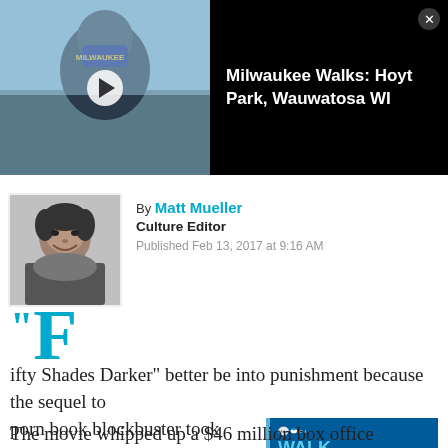[Figure (screenshot): Video thumbnail with play button showing Milwaukee Walks: Hoyt Park, Wauwatosa WI video on dark background]
[Figure (photo): Black and white headshot of Matt Mueller, Culture Editor]
By Matt Mueller
Culture Editor
Published Feb 13, 2017 at 9:16 AM
"Fifty Shades Darker" better be into punishment because the sequel to porn book blockbuster took quite during its opening weekend.
[Figure (infographic): Make-A-Wish Walk for Wishes ad: Milwaukee August 27, 2022 The Rock Sports Complex Franklin, WI Register FOR FREE at wish.org/wisconsin/mkewalk]
The movie whipped up a $46 million box office